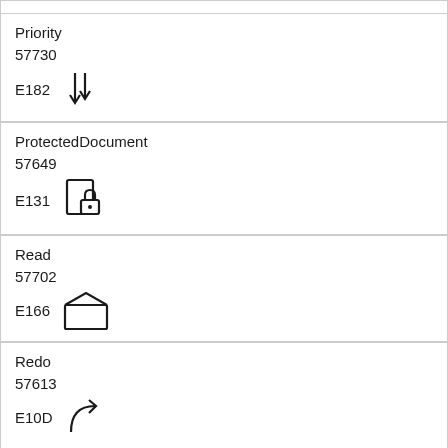| Priority | 57730 | E182 | [down arrows icon] |
| ProtectedDocument | 57649 | E131 | [protected document icon] |
| Read | 57702 | E166 | [open envelope icon] |
| Redo | 57613 | E10D | [redo arrow icon] |